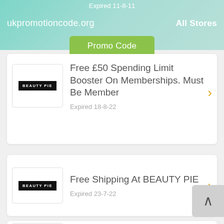Expired 11-8-11
ukpromotioncode.org    All Stores
Promo Code
Free £50 Spending Limit Booster On Memberships. Must Be Member
Expired 18-8-22
Free Shipping At BEAUTY PIE
Expired 23-7-22
Gift Membership From £30 At Beauty Pie